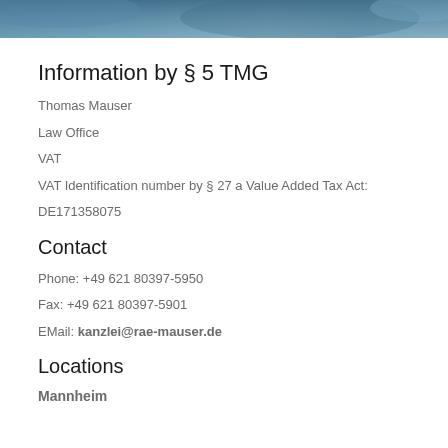[Figure (photo): Blue toned decorative header image with abstract or architectural elements]
Information by § 5 TMG
Thomas Mauser
Law Office
VAT
VAT Identification number by § 27 a Value Added Tax Act:
DE171358075
Contact
Phone: +49 621 80397-5950
Fax: +49 621 80397-5901
EMail: kanzlei@rae-mauser.de
Locations
Mannheim